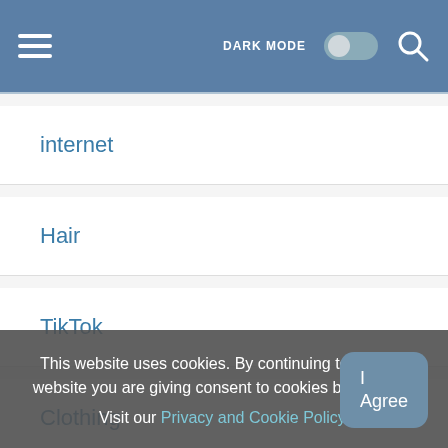DARK MODE
internet
Hair
TikTok
Clothing
CBD
Goal
This website uses cookies. By continuing to use this website you are giving consent to cookies being used. Visit our Privacy and Cookie Policy.